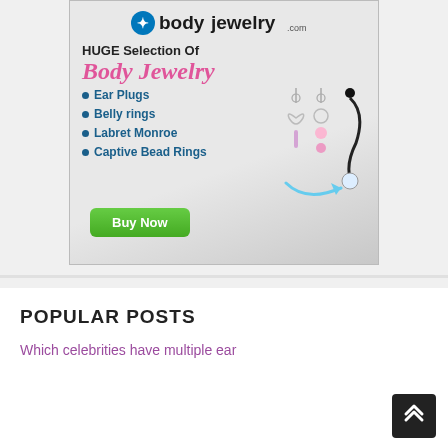[Figure (illustration): Body jewelry advertisement banner showing logo, 'HUGE Selection Of Body Jewelry' text, bullet list of items (Ear Plugs, Belly rings, Labret Monroe, Captive Bead Rings), jewelry product images, and a green 'Buy Now' button]
POPULAR POSTS
Which celebrities have multiple ear